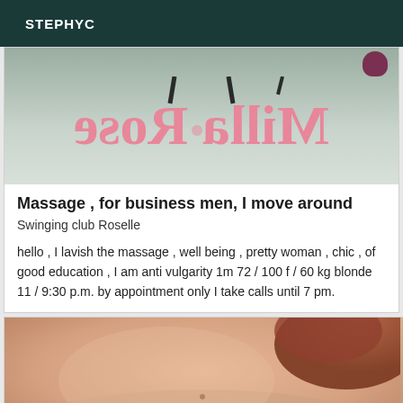STEPHYC
[Figure (photo): Mirrored/reflected text reading 'Milla Rose' in pink letters on a tiled floor, viewed from above]
Massage , for business men, I move around
Swinging club Roselle
hello , I lavish the massage , well being , pretty woman , chic , of good education , I am anti vulgarity 1m 72 / 100 f / 60 kg blonde 11 / 9:30 p.m. by appointment only I take calls until 7 pm.
[Figure (photo): Close-up photo of a person's bare shoulder and back of head with red/auburn hair]